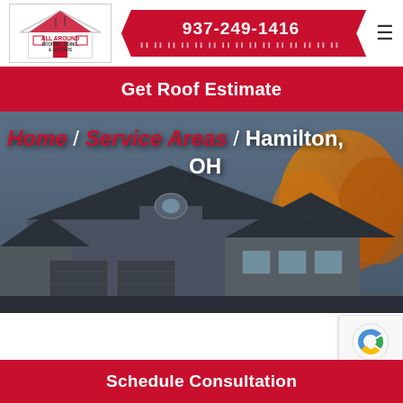[Figure (logo): All Around Roofing, Siding & Gutters company logo with house outline]
937-249-1416
Get Roof Estimate
[Figure (photo): Photo of a house with dark metal roof and autumn trees in background]
Home / Service Areas / Hamilton, OH
[Figure (other): reCAPTCHA badge]
Schedule Consultation